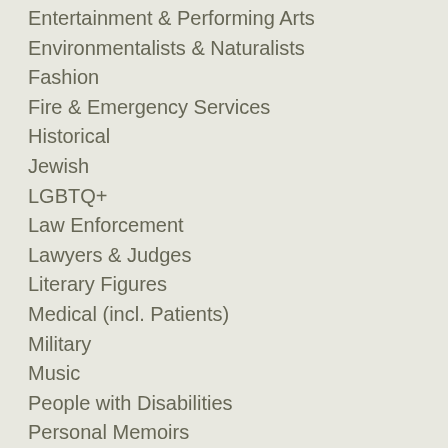Entertainment & Performing Arts
Environmentalists & Naturalists
Fashion
Fire & Emergency Services
Historical
Jewish
LGBTQ+
Law Enforcement
Lawyers & Judges
Literary Figures
Medical (incl. Patients)
Military
Music
People with Disabilities
Personal Memoirs
Philosophers
Political
Presidents & Heads of State
Reference